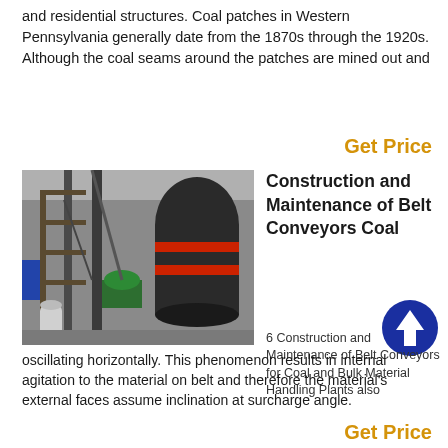and residential structures. Coal patches in Western Pennsylvania generally date from the 1870s through the 1920s. Although the coal seams around the patches are mined out and
Get Price
[Figure (photo): Industrial facility interior showing belt conveyors, large industrial equipment, metal structures, green motor/pump equipment, and a gas cylinder on the floor.]
Construction and Maintenance of Belt Conveyors Coal
6 Construction and Maintenance of Belt Conveyors for Coal and Bulk Material Handling Plants also oscillating horizontally. This phenomenon results in internal agitation to the material on belt and therefore the material's external faces assume inclination at surcharge angle.
Get Price